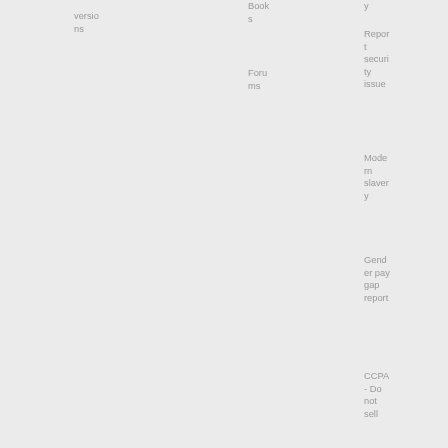versions
Books
Forums
y
Report security issue
Modern slavery
Gender pay gap report
CCPA - Do not sell